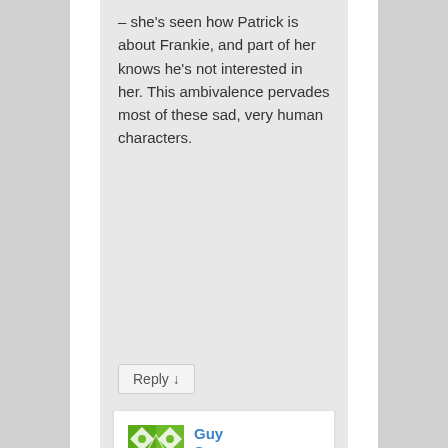– she's seen how Patrick is about Frankie, and part of her knows he's not interested in her. This ambivalence pervades most of these sad, very human characters.
Reply ↓
Guy Savage on September 16, 2017 at 3:34 pm said:
I've read a few Elizabeth Taylors– most of which I liked